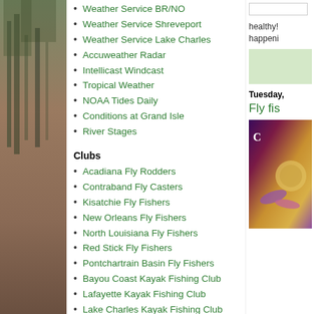[Figure (photo): Left strip photo showing outdoor/nature scene with trees, muted brown and green tones]
Weather Service BR/NO
Weather Service Shreveport
Weather Service Lake Charles
Accuweather Radar
Intellicast Windcast
Tropical Weather
NOAA Tides Daily
Conditions at Grand Isle
River Stages
Clubs
Acadiana Fly Rodders
Contraband Fly Casters
Kisatchie Fly Fishers
New Orleans Fly Fishers
North Louisiana Fly Fishers
Red Stick Fly Fishers
Pontchartrain Basin Fly Fishers
Bayou Coast Kayak Fishing Club
Lafayette Kayak Fishing Club
Lake Charles Kayak Fishing Club
healthy! happening
Tuesday,
Fly fis